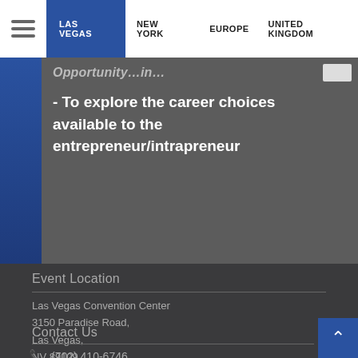LAS VEGAS | NEW YORK | EUROPE | UNITED KINGDOM
- To explore the career choices available to the entrepreneur/intrapreneur
Event Location
Las Vegas Convention Center
3150 Paradise Road,
Las Vegas,
NV 89109
Contact Us
(702) 410-6746